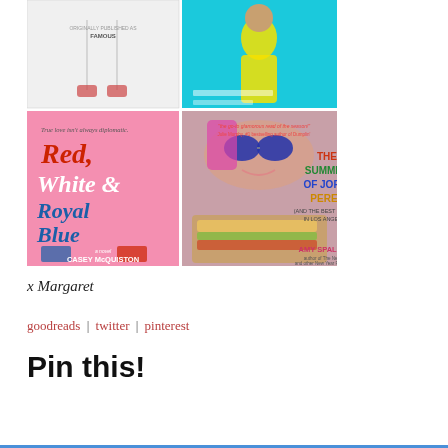[Figure (illustration): Collage of four book covers arranged in a 2x2 grid. Top-left: a black-and-white illustrated cover (partially visible). Top-right: a colorful illustrated cover with a figure in a yellow dress. Bottom-left: 'Red, White & Royal Blue' by Casey McQuiston, pink cover with illustrated characters. Bottom-right: 'The Summer of Jordi Perez (and the Best Burger in Los Angeles)' by Amy Spalding, photo cover of a girl with pink hair eating a burger.]
x Margaret
goodreads | twitter | pinterest
Pin this!